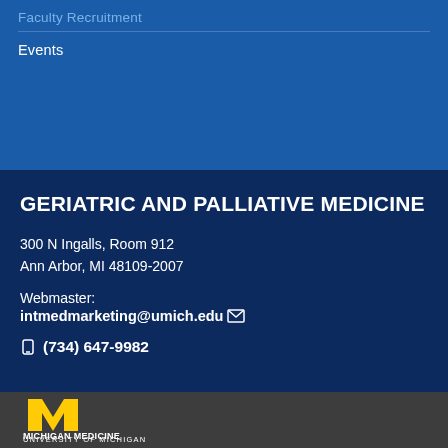Faculty Recruitment
Events
GERIATRIC AND PALLIATIVE MEDICINE
300 N Ingalls, Room 912
Ann Arbor, MI 48109-2007
Webmaster:
intmedmarketing@umich.edu
(734) 647-9982
[Figure (logo): Michigan Medicine University of Michigan logo with yellow M emblem on dark gray background]